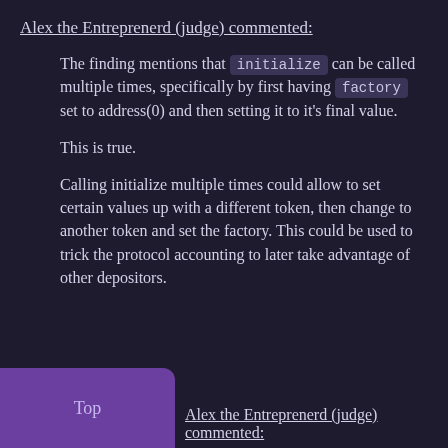Alex the Entreprenerd (judge) commented:
The finding mentions that initialize can be called multiple times, specifically by first having factory set to address(0) and then setting it to it's final value.
This is true.
Calling initialize multiple times could allow to set certain values up with a different token, then change to another token and set the factory. This could be used to trick the protocol accounting to later take advantage of other depositors.
Top
Alex the Entreprenerd (judge) commented: